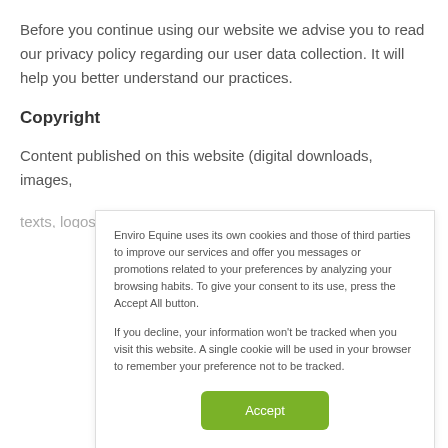Before you continue using our website we advise you to read our privacy policy regarding our user data collection. It will help you better understand our practices.
Copyright
Content published on this website (digital downloads, images,
Enviro Equine uses its own cookies and those of third parties to improve our services and offer you messages or promotions related to your preferences by analyzing your browsing habits. To give your consent to its use, press the Accept All button.
If you decline, your information won’t be tracked when you visit this website. A single cookie will be used in your browser to remember your preference not to be tracked.
Accept